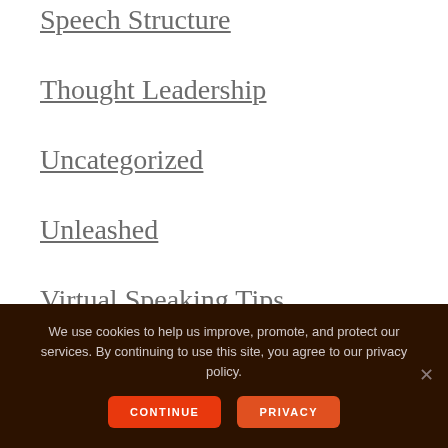Speech Structure
Thought Leadership
Uncategorized
Unleashed
Virtual Speaking Tips
We use cookies to help us improve, promote, and protect our services. By continuing to use this site, you agree to our privacy policy.
CONTINUE
PRIVACY